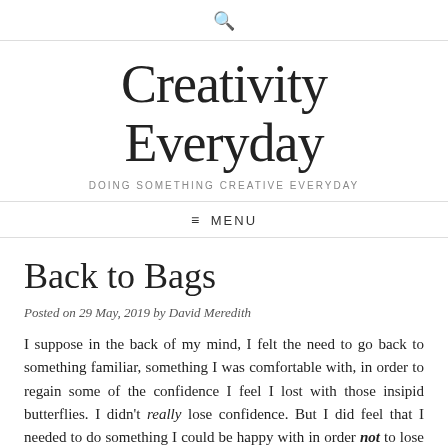🔍
Creativity Everyday
DOING SOMETHING CREATIVE EVERYDAY
≡ MENU
Back to Bags
Posted on 29 May, 2019 by David Meredith
I suppose in the back of my mind, I felt the need to go back to something familiar, something I was comfortable with, in order to regain some of the confidence I feel I lost with those insipid butterflies. I didn't really lose confidence. But I did feel that I needed to do something I could be happy with in order not to lose confidence. I don't know whether